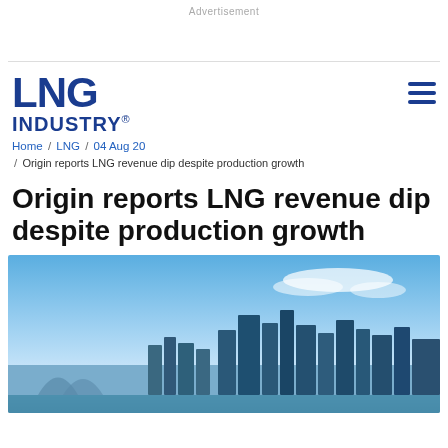Advertisement
[Figure (logo): LNG INDUSTRY logo in dark blue bold text]
Home / LNG / 04 Aug 20 / Origin reports LNG revenue dip despite production growth
Origin reports LNG revenue dip despite production growth
[Figure (photo): Aerial view of a city skyline with blue sky and clouds, likely Sydney, Australia]